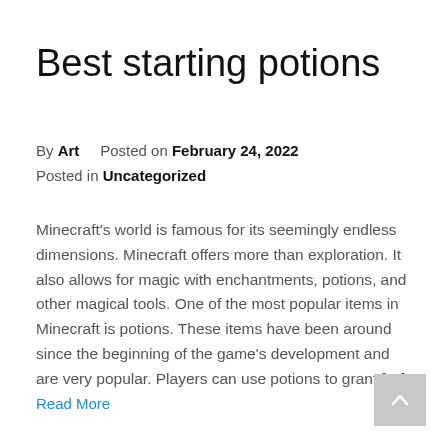Best starting potions
By Art   Posted on February 24, 2022
Posted in Uncategorized
Minecraft's world is famous for its seemingly endless dimensions. Minecraft offers more than exploration. It also allows for magic with enchantments, potions, and other magical tools. One of the most popular items in Minecraft is potions. These items have been around since the beginning of the game's development and are very popular. Players can use potions to grant […]
Read More